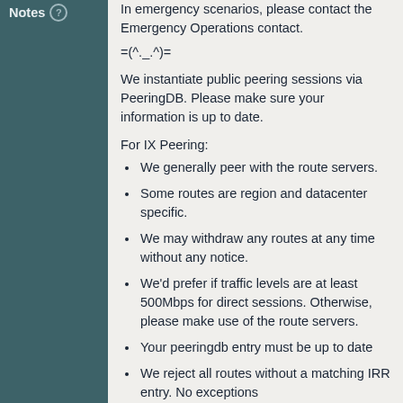Notes
In emergency scenarios, please contact the Emergency Operations contact.
=(^._.^)=
We instantiate public peering sessions via PeeringDB. Please make sure your information is up to date.
For IX Peering:
We generally peer with the route servers.
Some routes are region and datacenter specific.
We may withdraw any routes at any time without any notice.
We'd prefer if traffic levels are at least 500Mbps for direct sessions. Otherwise, please make use of the route servers.
Your peeringdb entry must be up to date
We reject all routes without a matching IRR entry. No exceptions